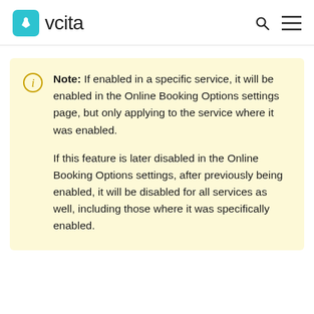vcita
Note: If enabled in a specific service, it will be enabled in the Online Booking Options settings page, but only applying to the service where it was enabled.

If this feature is later disabled in the Online Booking Options settings, after previously being enabled, it will be disabled for all services as well, including those where it was specifically enabled.